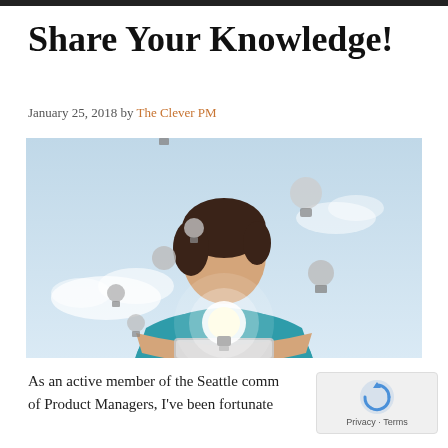Share Your Knowledge!
January 25, 2018 by The Clever PM
[Figure (photo): Woman in teal shirt holding a tablet with glowing light bulbs floating above it against a light blue sky background]
As an active member of the Seattle comm... of Product Managers, I've been fortunate